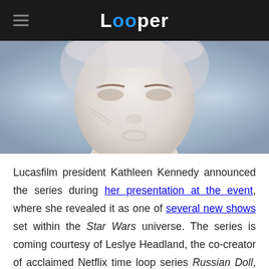Looper
[Figure (illustration): Anime-style close-up of a white-haired character's face with glowing blue/grey background tones]
Lucasfilm president Kathleen Kennedy announced the series during her presentation at the event, where she revealed it as one of several new shows set within the Star Wars universe. The series is coming courtesy of Leslye Headland, the co-creator of acclaimed Netflix time loop series Russian Doll, and was described by Kennedy as a "mystery-thriller that will take us into a galaxy of shadowy secrets